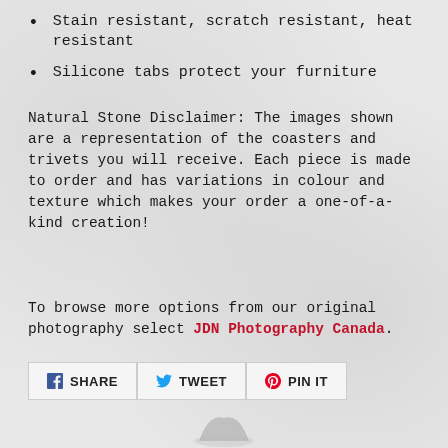Stain resistant, scratch resistant, heat resistant
Silicone tabs protect your furniture
Natural Stone Disclaimer: The images shown are a representation of the coasters and trivets you will receive.  Each piece is made to order and has variations in colour and texture which makes your order a one-of-a-kind creation!
To browse more options from our original photography select JDN Photography Canada.
[Figure (infographic): Social share buttons: Share (Facebook), Tweet (Twitter), Pin It (Pinterest)]
[Figure (illustration): Partial illustration at bottom center of page]